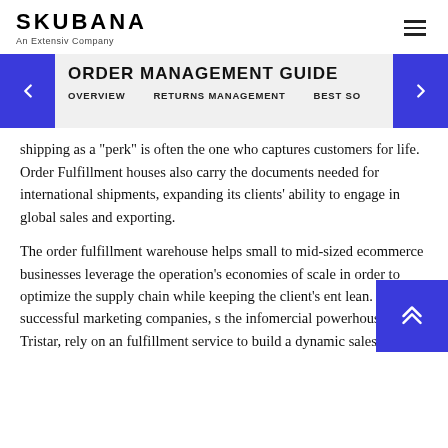SKUBANA
An Extensiv Company
ORDER MANAGEMENT GUIDE
OVERVIEW    RETURNS MANAGEMENT    BEST SO
shipping as a "perk" is often the one who captures customers for life. Order Fulfillment houses also carry the documents needed for international shipments, expanding its clients' ability to engage in global sales and exporting.
The order fulfillment warehouse helps small to mid-sized ecommerce businesses leverage the operation's economies of scale in order to optimize the supply chain while keeping the client's ent lean. Many successful marketing companies, s the infomercial powerhouse Tristar, rely on an fulfillment service to build a dynamic sales